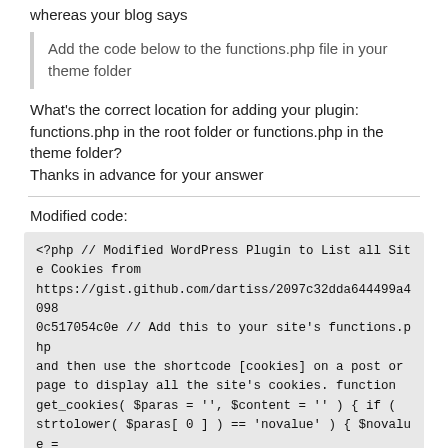whereas your blog says
Add the code below to the functions.php file in your theme folder
What's the correct location for adding your plugin: functions.php in the root folder or functions.php in the theme folder?
Thanks in advance for your answer
Modified code:
<?php // Modified WordPress Plugin to List all Site Cookies from https://gist.github.com/dartiss/2097c32dda644499a40980c517054c0e // Add this to your site's functions.php and then use the shortcode [cookies] on a post or page to display all the site's cookies. function get_cookies( $paras = '', $content = '' ) { if ( strtolower( $paras[ 0 ] ) == 'novalue' ) { $novalue = true; } else { $novalue = false; } if ( $content ==